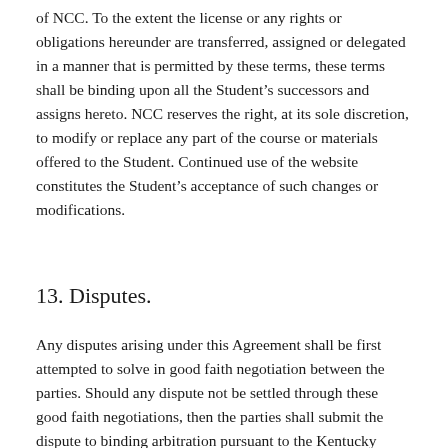of NCC. To the extent the license or any rights or obligations hereunder are transferred, assigned or delegated in a manner that is permitted by these terms, these terms shall be binding upon all the Student's successors and assigns hereto. NCC reserves the right, at its sole discretion, to modify or replace any part of the course or materials offered to the Student. Continued use of the website constitutes the Student's acceptance of such changes or modifications.
13. Disputes.
Any disputes arising under this Agreement shall be first attempted to solve in good faith negotiation between the parties. Should any dispute not be settled through these good faith negotiations, then the parties shall submit the dispute to binding arbitration pursuant to the Kentucky Uniform Arbitration Act (KRS 417.045-.240). This Agreement will apply Kentucky law and any arbitration proceedings shall